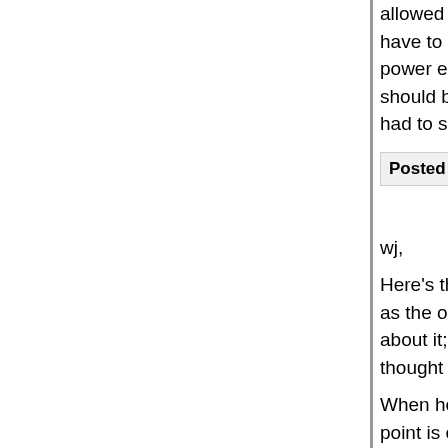allowed to become the arbiter of the truth. I also a have to endure the misuse of guns because guns power enjoyed by the government in the hands o should be allowed to become the arbiter of coerc had to say about that one.
Posted by: suzie_Q | December 19, 2012 at 10:35 AM
wj,
Here's the problem with you taking this track with as the only reasonable, rational view, and anyone about it; or hasn't thought about it in any depth. S thought about it at length, then you are lying.
When he made that statement a few years ago is point is engaging with him, he believes I'm a liar a faith discussion, just shouting.
Posted by: DecidedFenceSitter | December 19, 2012 at 10:4
Pick one.
um, no.